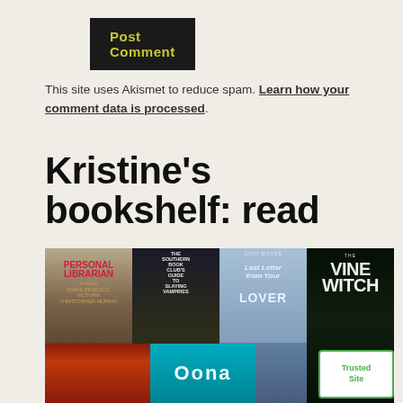[Figure (other): Black button labeled 'Post Comment' in yellow-green text]
This site uses Akismet to reduce spam. Learn how your comment data is processed.
Kristine's bookshelf: read
[Figure (other): Row of book covers: The Personal Librarian, The Southern Book Club's Guide to Slaying Vampires, The Last Letter from Your Lover, The Vine Witch]
[Figure (other): Partial row of book covers: dark fire cover and Oona cover; partial TrustedSite badge in corner]